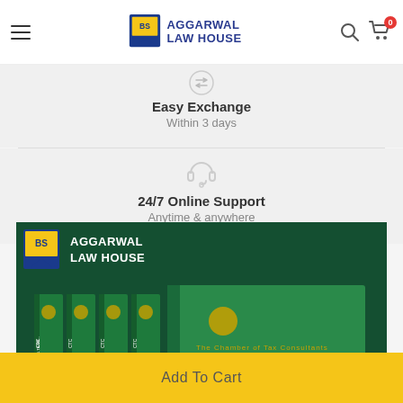Aggarwal Law House
Easy Exchange
Within 3 days
[Figure (illustration): Headset/headphones icon in light gray]
24/7 Online Support
Anytime & anywhere
[Figure (photo): Aggarwal Law House banner showing multiple green hardcover books labeled CTC International Taxation]
Add To Cart